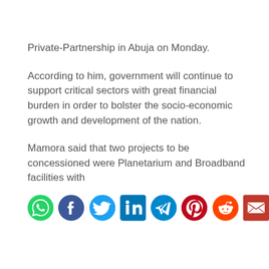Private-Partnership in Abuja on Monday.
According to him, government will continue to support critical sectors with great financial burden in order to bolster the socio-economic growth and development of the nation.
Mamora said that two projects to be concessioned were Planetarium and Broadband facilities with
[Figure (infographic): Row of social media sharing icons: WhatsApp (green), Facebook (dark blue), Twitter (light blue), LinkedIn (blue), Telegram (teal-blue), Pinterest (red), Reddit (orange-red), Email (dark red)]